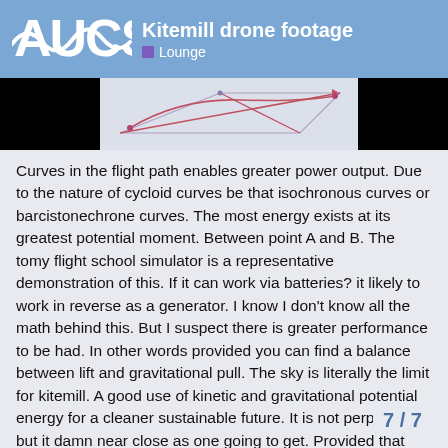Kitemill drone footage — Lounge
[Figure (engineering-diagram): A diagram showing a kite flight path with geometric lines and curves on a light background, flanked by two black rectangles (redacted areas).]
Curves in the flight path enables greater power output. Due to the nature of cycloid curves be that isochronous curves or barcistonechrone curves. The most energy exists at its greatest potential moment. Between point A and B. The tomy flight school simulator is a representative demonstration of this. If it can work via batteries? it likely to work in reverse as a generator. I know I don't know all the math behind this. But I suspect there is greater performance to be had. In other words provided you can find a balance between lift and gravitational pull. The sky is literally the limit for kitemill. A good use of kinetic and gravitational potential energy for a cleaner sustainable future. It is not perpetual. but it damn near close as one going to get. Provided that you have an object in constant free fall. There is no end to the amount of energy it can produce. I can't say how efficient it would be in terms of percentage? Though I reckon you might be looking a 40% or abo based on the structure in any of the gener:
7 / 7